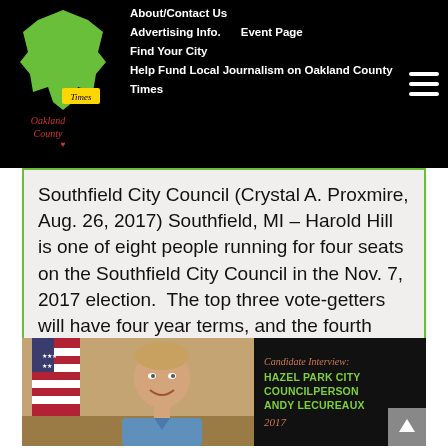About/Contact Us  Advertising Info.  Event Page  Find Your City  Help Fund Local Journalism on Oakland County Times
Southfield City Council (Crystal A. Proxmire, Aug. 26, 2017) Southfield, MI – Harold Hill is one of eight people running for four seats on the Southfield City Council in the Nov. 7, 2017 election.  The top three vote-getters will have four year terms, and the fourth highest will get…
[Figure (photo): Photo of a smiling man in a blue shirt seated in front of an American flag. Adjacent dark panel reads: Candidate Interview: Hazel Park City Councilperson Andy LeCureaux 2017]